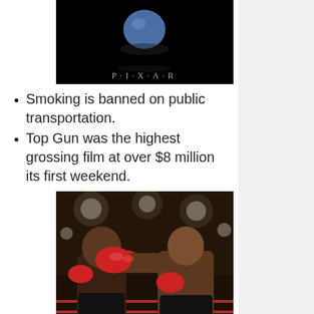[Figure (photo): Pixar logo on black background with P·I·X·A·R text]
Smoking is banned on public transportation.
Top Gun was the highest grossing film at over $8 million its first weekend.
[Figure (photo): Two boxers fighting in a ring under bright arena lights, both wearing red gloves]
It's hard to believe that smoking wasn't banned sooner on public transportation. But the year in th...